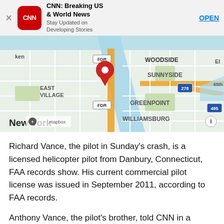[Figure (screenshot): CNN app install banner with X close button, CNN red rounded square logo, title 'CNN: Breaking US & World News', subtitle 'Stay Updated on Developing Stories', and blue 'OPEN' link]
[Figure (map): Mapbox map of New York City showing East Village, Greenpoint, Sunnyside, Woodside, Williamsburg areas with a red location pin marker near the East River, FDR highway labels, route 278 and 495 highway markers, and 'New York' label at bottom left]
Richard Vance, the pilot in Sunday's crash, is a licensed helicopter pilot from Danbury, Connecticut, FAA records show. His current commercial pilot license was issued in September 2011, according to FAA records.
Anthony Vance, the pilot's brother, told CNN in a